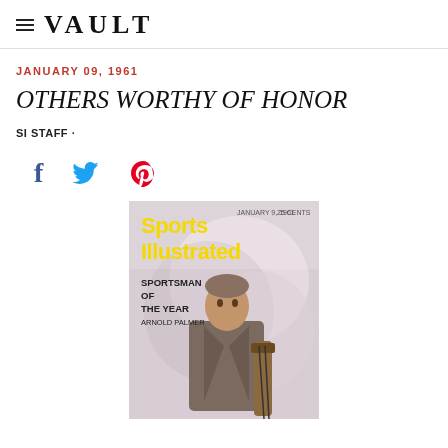VAULT
JANUARY 09, 1961
OTHERS WORTHY OF HONOR
SI STAFF ·
[Figure (illustration): Sports Illustrated magazine cover showing Arnold Palmer as Sportsman of the Year, January 9, 1961, with yellow Sports Illustrated logo and text 'SPORTSMAN OF THE YEAR ARNOLD PALMER']